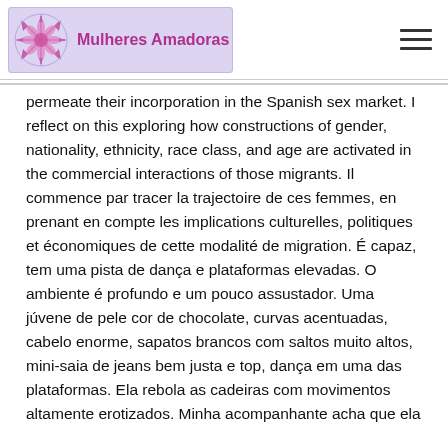Mulheres Amadoras
permeate their incorporation in the Spanish sex market. I reflect on this exploring how constructions of gender, nationality, ethnicity, race class, and age are activated in the commercial interactions of those migrants. Il commence par tracer la trajectoire de ces femmes, en prenant en compte les implications culturelles, politiques et économiques de cette modalité de migration. É capaz, tem uma pista de dança e plataformas elevadas. O ambiente é profundo e um pouco assustador. Uma júvene de pele cor de chocolate, curvas acentuadas, cabelo enorme, sapatos brancos com saltos muito altos, mini-saia de jeans bem justa e top, dança em uma das plataformas. Ela rebola as cadeiras com movimentos altamente erotizados. Minha acompanhante acha que ela